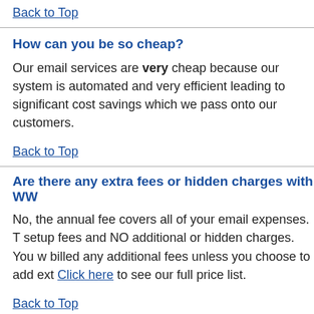Back to Top
How can you be so cheap?
Our email services are very cheap because our system is automated and very efficient leading to significant cost savings which we pass onto our customers.
Back to Top
Are there any extra fees or hidden charges with WW
No, the annual fee covers all of your email expenses. There are no setup fees and NO additional or hidden charges. You will not be billed any additional fees unless you choose to add ext… Click here to see our full price list.
Back to Top
Do you accept payment by any means other than c